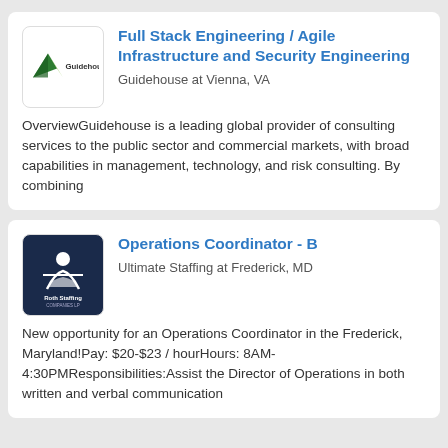[Figure (logo): Guidehouse company logo with triangle/mountain icon and text 'Guidehouse']
Full Stack Engineering / Agile Infrastructure and Security Engineering
Guidehouse at Vienna, VA
OverviewGuidehouse is a leading global provider of consulting services to the public sector and commercial markets, with broad capabilities in management, technology, and risk consulting. By combining
[Figure (logo): Roth Staffing Companies LP logo, dark navy background with white figure and text]
Operations Coordinator - B
Ultimate Staffing at Frederick, MD
New opportunity for an Operations Coordinator in the Frederick, Maryland!Pay: $20-$23 / hourHours: 8AM-4:30PMResponsibilities:Assist the Director of Operations in both written and verbal communication